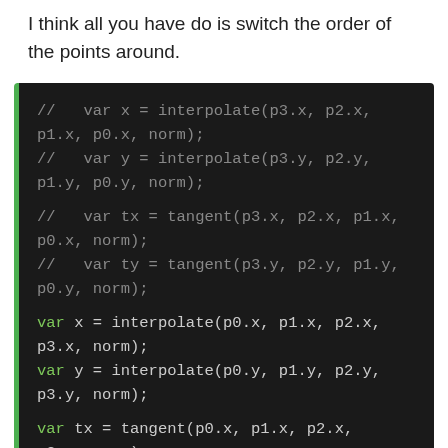I think all you have do is switch the order of the points around.
[Figure (screenshot): Code block on dark background showing commented-out interpolate/tangent calls with reversed argument order, followed by active var declarations using p0, p1, p2, p3 order for interpolate and tangent functions.]